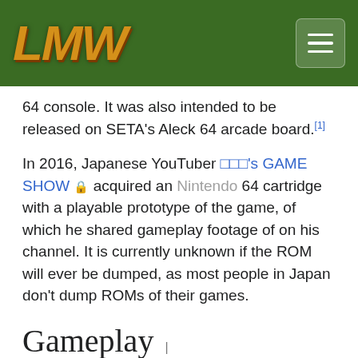LMW logo and navigation header
64 console. It was also intended to be released on SETA's Aleck 64 arcade board.[1]
In 2016, Japanese YouTuber □□□'s GAME SHOW acquired an Nintendo 64 cartridge with a playable prototype of the game, of which he shared gameplay footage of on his channel. It is currently unknown if the ROM will ever be dumped, as most people in Japan don't dump ROMs of their games.
Gameplay
The game bears some resemblance with the earliest installments of the Ridge Racer franchise. It featured a wide selection of cars, which are divided into 5 classes based on their performance. It also included a variety of game modes. The tracks take place in